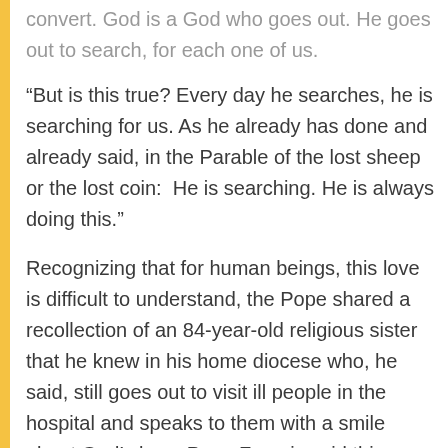convert. God is a God who goes out. He goes out to search, for each one of us.
“But is this true? Every day he searches, he is searching for us. As he already has done and already said, in the Parable of the lost sheep or the lost coin:  He is searching. He is always doing this.”
Recognizing that for human beings, this love is difficult to understand, the Pope shared a recollection of an 84-year-old religious sister that he knew in his home diocese who, he said, still goes out to visit ill people in the hospital and speaks to them with a smile about God’s love. Pope Francis said this sister received the grace to understand the mystery of God’s boundless love, a grace that so many do not receive.